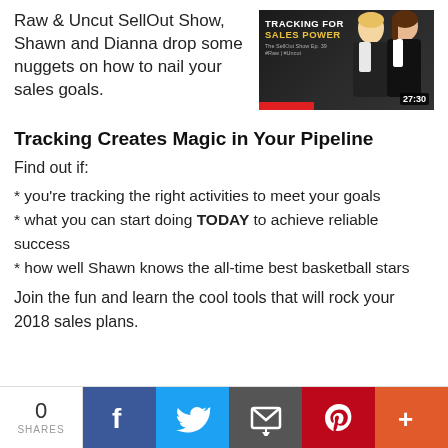Raw & Uncut SellOut Show, Shawn and Dianna drop some nuggets on how to nail your sales goals.
[Figure (screenshot): Video thumbnail showing 'TRACKING FOR SALES POWER - The SellOut Show Ep. 39 #Raw #Uncut' with two women visible on the right side, duration 27:30]
Tracking Creates Magic in Your Pipeline
Find out if:
* you're tracking the right activities to meet your goals
* what you can start doing TODAY to achieve reliable success
* how well Shawn knows the all-time best basketball stars
Join the fun and learn the cool tools that will rock your 2018 sales plans.
0 SHARES | Facebook | Twitter | Email | Pinterest | More